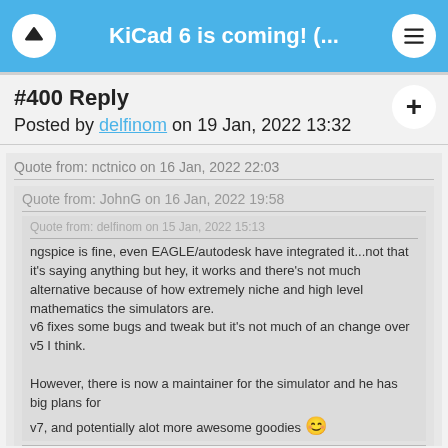KiCad 6 is coming! (...
#400 Reply
Posted by delfinom on 19 Jan, 2022 13:32
Quote from: nctnico on 16 Jan, 2022 22:03
Quote from: JohnG on 16 Jan, 2022 19:58
Quote from: delfinom on 15 Jan, 2022 15:13
ngspice is fine, even EAGLE/autodesk have integrated it...not that it's saying anything but hey, it works and there's not much alternative because of how extremely niche and high level mathematics the simulators are.
v6 fixes some bugs and tweak but it's not much of an change over v5 I think.

However, there is now a maintainer for the simulator and he has big plans for v7, and potentially alot more awesome goodies 😊
Even Altium has switched to ngspice:
https://resources.altium.com/p/a-first-look-at-altium-designer-20. I hope some of these companies adopting ngspice throw in some resources to the developers.

Very glad to hear that there are big plans for including simulation in